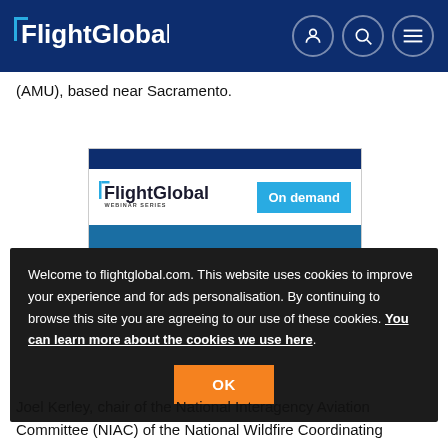FlightGlobal
(AMU), based near Sacramento.
[Figure (screenshot): FlightGlobal Webinar Series On demand advertisement banner]
Welcome to flightglobal.com. This website uses cookies to improve your experience and for ads personalisation. By continuing to browse this site you are agreeing to our use of these cookies. You can learn more about the cookies we use here.
OK
Joel Kerley, chair of the National Interagency Aviation Committee (NIAC) of the National Wildfire Coordinating